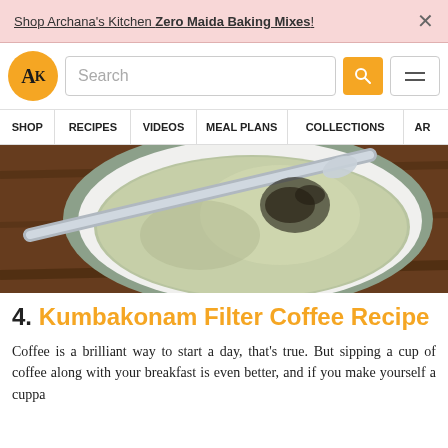Shop Archana's Kitchen Zero Maida Baking Mixes! ×
[Figure (logo): AK logo circle orange with navigation bar including search box and hamburger menu]
SHOP | RECIPES | VIDEOS | MEAL PLANS | COLLECTIONS | ART
[Figure (photo): Top-down close-up photo of a bowl of Kumbakonam filter coffee with a steel spoon, green-tinted liquid, on a dark wooden surface]
4. Kumbakonam Filter Coffee Recipe
Coffee is a brilliant way to start a day, that's true. But sipping a cup of coffee along with your breakfast is even better, and if you make yourself a cuppa